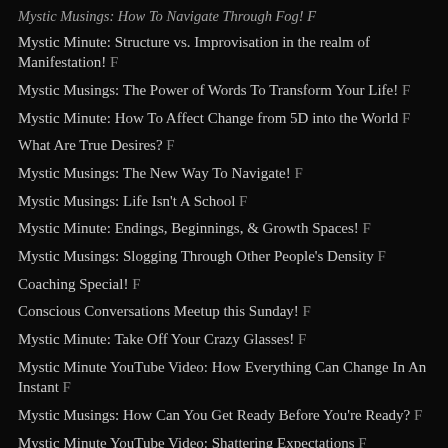Mystic Musings: How To Navigate Through Fog! F
Mystic Minute: Structure vs. Improvisation in the realm of Manifestation! F
Mystic Musings: The Power of Words To Transform Your Life! F
Mystic Minute: How To Affect Change from 5D into the World F
What Are True Desires? F
Mystic Musings: The New Way To Navigate! F
Mystic Musings: Life Isn't A School F
Mystic Minute: Endings, Beginnings, & Growth Spaces! F
Mystic Musings: Slogging Through Other People's Density F
Coaching Special! F
Conscious Conversations Meetup this Sunday! F
Mystic Minute: Take Off Your Crazy Glasses! F
Mystic Minute YouTube Video: How Everything Can Change In An Instant F
Mystic Musings: How Can You Get Ready Before You're Ready? F
Mystic Minute YouTube Video: Shattering Expectations F